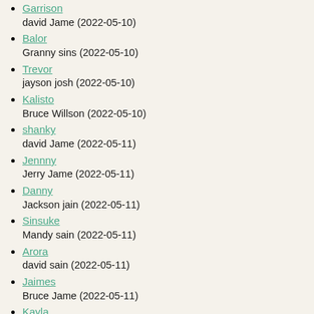Garrison
david Jame (2022-05-10)
Balor
Granny sins (2022-05-10)
Trevor
jayson josh (2022-05-10)
Kalisto
Bruce Willson (2022-05-10)
shanky
david Jame (2022-05-11)
Jennny
Jerry Jame (2022-05-11)
Danny
Jackson jain (2022-05-11)
Sinsuke
Mandy sain (2022-05-11)
Arora
david sain (2022-05-11)
Jaimes
Bruce Jame (2022-05-11)
Kayla
Jerry Wilson (2022-05-11)
annabella
david jain (2022-05-11)
Jenny
Lucy Jain (2022-05-11)
Cristien Emily (2022-05-11)
Sting